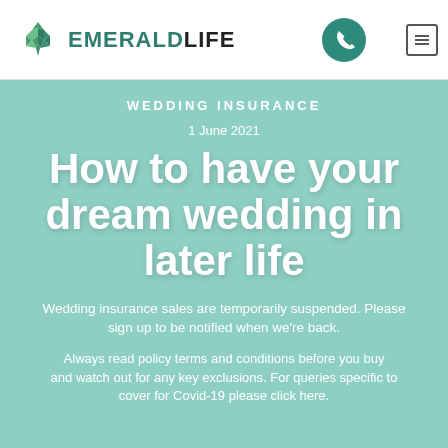[Figure (logo): Emerald Life logo with green geometric flower icon and bold text EMERALDLIFE]
EMERALDLIFE — phone icon — menu button
WEDDING INSURANCE
1 June 2021
How to have your dream wedding in later life
Wedding insurance sales are temporarily suspended. Please sign up to be notified when we're back.
Always read policy terms and conditions before you buy and watch out for any key exclusions. For queries specific to cover for Covid-19 please click here.